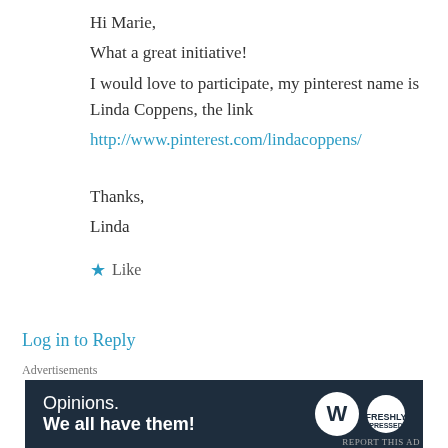Hi Marie,
What a great initiative!
I would love to participate, my pinterest name is Linda Coppens, the link
http://www.pinterest.com/lindacoppens/

Thanks,
Linda
★ Like
Log in to Reply
mariekazalia on August 18, 2014 at 5:10 AM
Advertisements
[Figure (screenshot): WordPress advertisement banner: 'Opinions. We all have them!' with WordPress and Freshly Pressed logos on dark navy background]